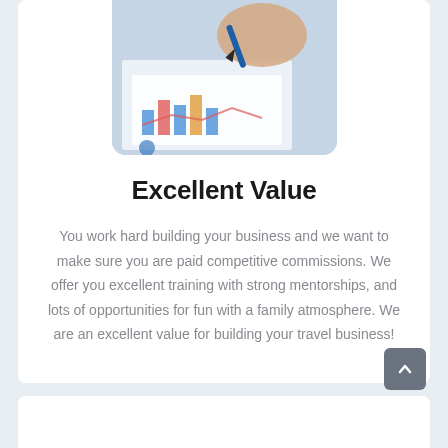[Figure (photo): A hand holding a blue pen pointing at colorful bar charts and line graphs on paper documents]
Excellent Value
You work hard building your business and we want to make sure you are paid competitive commissions. We offer you excellent training with strong mentorships, and lots of opportunities for fun with a family atmosphere. We are an excellent value for building your travel business!